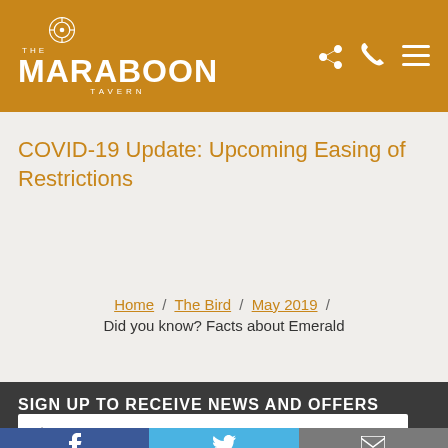[Figure (logo): The Maraboon Tavern logo — white circular icon above white text 'THE MARABOON TAVERN' on golden/amber background]
COVID-19 Update: Upcoming Easing of Restrictions
Home / The Bird / May 2019 /
Did you know? Facts about Emerald
SIGN UP TO RECEIVE NEWS AND OFFERS
First Name